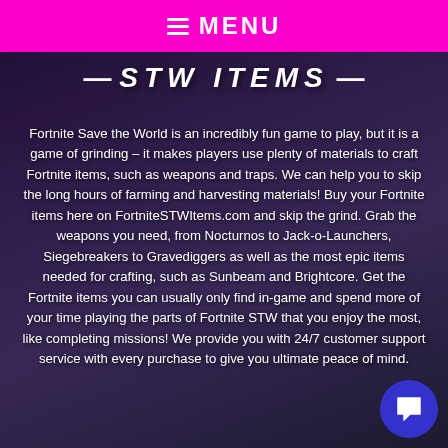MENU
— STW ITEMS —
Fortnite Save the World is an incredibly fun game to play, but it is a game of grinding - it makes players use plenty of materials to craft Fortnite items, such as weapons and traps. We can help you to skip the long hours of farming and harvesting materials! Buy your Fortnite items here on FortniteSTWItems.com and skip the grind. Grab the weapons you need, from Nocturnos to Jack-o-Launchers, Siegebreakers to Gravediggers as well as the most epic items needed for crafting, such as Sunbeam and Brightcore. Get the Fortnite items you can usually only find in-game and spend more of your time playing the parts of Fortnite STW that you enjoy the most, like completing missions! We provide you with 24/7 customer support service with every purchase to give you ultimate peace of mind.
[Figure (other): Blue circular chat support button with speech bubble icon in bottom right corner]